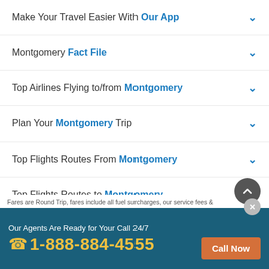Make Your Travel Easier With Our App
Montgomery Fact File
Top Airlines Flying to/from Montgomery
Plan Your Montgomery Trip
Top Flights Routes From Montgomery
Top Flights Routes to Montgomery
Fares are Round Trip, fares include all fuel surcharges, our service fees &
Our Agents Are Ready for Your Call 24/7
1-888-884-4555
Call Now